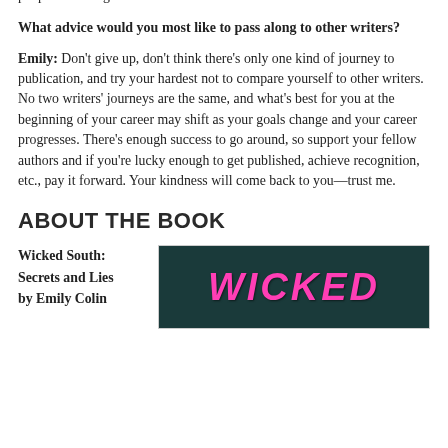favorite places to work, though, are probably coffee shops in cities that are not my own. There's something tremendously freeing about it—plus, people-watching!
What advice would you most like to pass along to other writers?
Emily: Don't give up, don't think there's only one kind of journey to publication, and try your hardest not to compare yourself to other writers. No two writers' journeys are the same, and what's best for you at the beginning of your career may shift as your goals change and your career progresses. There's enough success to go around, so support your fellow authors and if you're lucky enough to get published, achieve recognition, etc., pay it forward. Your kindness will come back to you—trust me.
ABOUT THE BOOK
Wicked South:
Secrets and Lies
by Emily Colin
[Figure (photo): Book cover showing the word WICKED in large pink letters on a dark teal/green background]